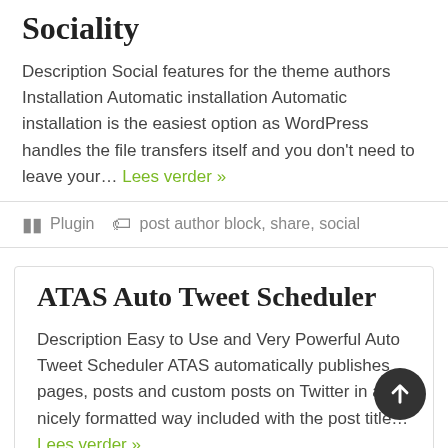Sociality
Description Social features for the theme authors Installation Automatic installation Automatic installation is the easiest option as WordPress handles the file transfers itself and you don't need to leave your… Lees verder »
Plugin   post author block, share, social
ATAS Auto Tweet Scheduler
Description Easy to Use and Very Powerful Auto Tweet Scheduler ATAS automatically publishes pages, posts and custom posts on Twitter in a nicely formatted way included with the post title… Lees verder »